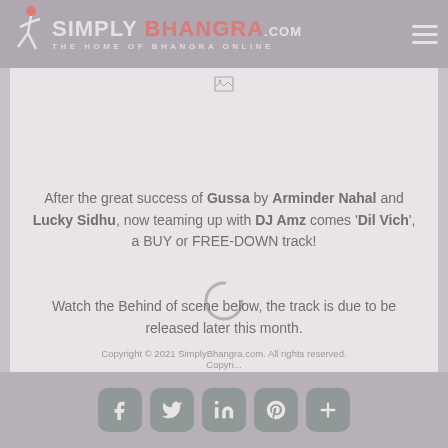SIMPLY BHANGRA.COM — THE HOME OF BHANGRA ONLINE
[Figure (other): Loading spinner / broken image placeholder at top of content area]
After the great success of Gussa by Arminder Nahal and Lucky Sidhu, now teaming up with DJ Amz comes 'Dil Vich', a BUY or FREE-DOWN track!
[Figure (other): Loading spinner (circle arc) overlaying the content area]
Watch the Behind of scene below, the track is due to be released later this month.
Copyright © 2021 SimplyBhangra.com. All rights reserved. Copyri...
[Figure (infographic): Social media sharing buttons: Facebook, Twitter, LinkedIn, Pinterest, More]